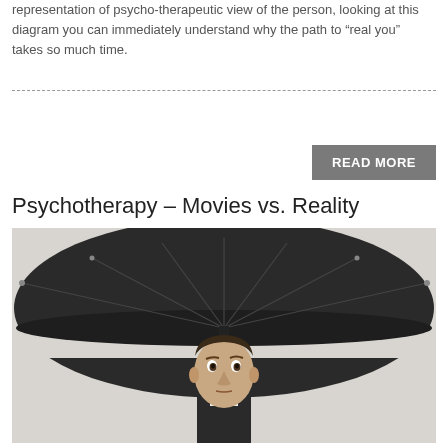representation of psycho-therapeutic view of the person, looking at this diagram you can immediately understand why the path to “real you” takes so much time.
[Figure (other): Button reading READ MORE on a grey background]
Psychotherapy – Movies vs. Reality
[Figure (photo): A man in a suit looking upward while sheltering under a large black umbrella, shot against a white/light grey background]